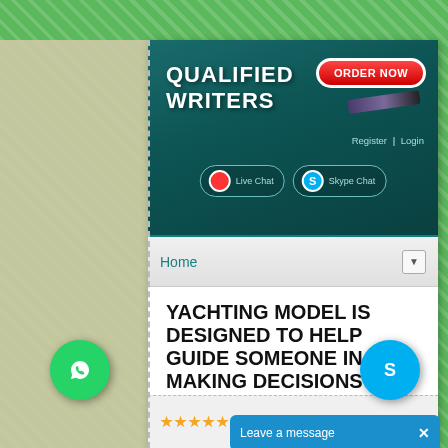[Figure (screenshot): Website screenshot of Qualified Writers writing service, showing header with logo, ORDER NOW button, Live Chat and Skype Chat buttons, navigation bar with Home, article title about Yachting Model, star rating, floating WhatsApp and Skype buttons, and Leave a message bar.]
QUALIFIED WRITERS
Register | Login
Live Chat
Skype Chat
Home
YACHTING MODEL IS DESIGNED TO HELP GUIDE SOMEONE IN MAKING DECISIONS
Qualified Write...
Leave a message